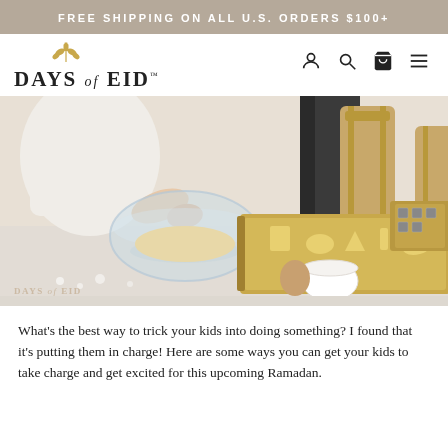FREE SHIPPING ON ALL U.S. ORDERS $100+
[Figure (logo): Days of Eid logo with wheat/laurel icon above text]
[Figure (photo): A child making Ramadan cookies at a kitchen counter with a glass mixing bowl, gold baking tray with shaped cookie cutters, wooden chairs in background]
What's the best way to trick your kids into doing something? I found that it's putting them in charge! Here are some ways you can get your kids to take charge and get excited for this upcoming Ramadan.